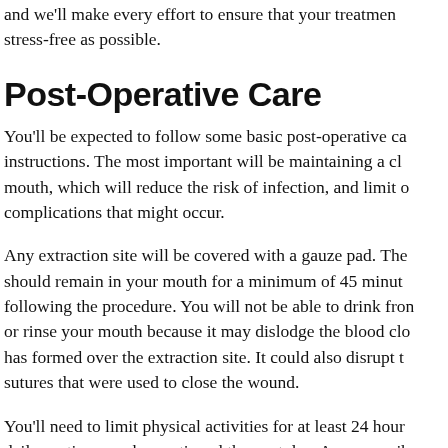and we'll make every effort to ensure that your treatment stress-free as possible.
Post-Operative Care
You'll be expected to follow some basic post-operative care instructions. The most important will be maintaining a clean mouth, which will reduce the risk of infection, and limit other complications that might occur.
Any extraction site will be covered with a gauze pad. The pad should remain in your mouth for a minimum of 45 minutes following the procedure. You will not be able to drink from or rinse your mouth because it may dislodge the blood clot that has formed over the extraction site. It could also disrupt the sutures that were used to close the wound.
You'll need to limit physical activities for at least 24 hours daily routines can be continued the next day. Any prescrib